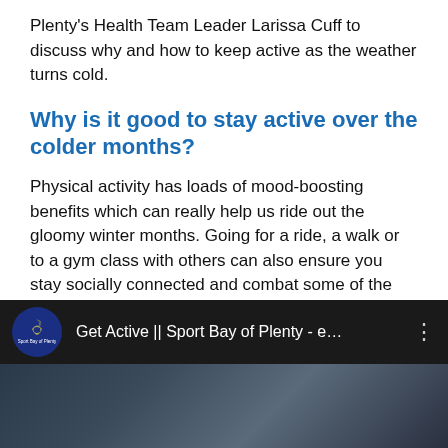Plenty's Health Team Leader Larissa Cuff to discuss why and how to keep active as the weather turns cold.
Why is it good to stay active over the colder months?
Physical activity has loads of mood-boosting benefits which can really help us ride out the gloomy winter months. Going for a ride, a walk or to a gym class with others can also ensure you stay socially connected and combat some of the isolation that easily creeps in when there's less daylight hours and we want to retreat inside.
[Figure (screenshot): YouTube video embed showing 'Get Active || Sport Bay of Plenty - e...' with Sport Bay of Plenty logo circle on dark background, with three-dot menu icon, and a dark thumbnail image below.]